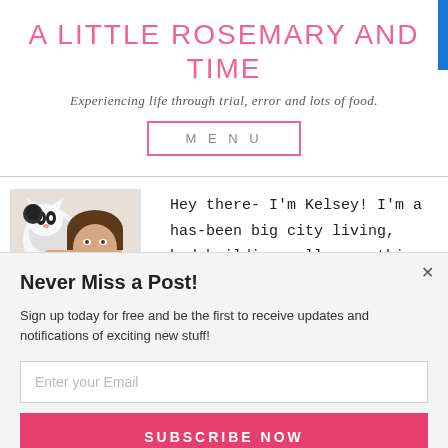A LITTLE ROSEMARY AND TIME
Experiencing life through trial, error and lots of food.
MENU
[Figure (photo): Woman holding a black and white cat, smiling]
Hey there- I'm Kelsey! I'm a has-been big city living, bodybuilding, all-or-nothing kind of gal who is currently
Never Miss a Post!
Sign up today for free and be the first to receive updates and notifications of exciting new stuff!
Enter your Email
SUBSCRIBE NOW